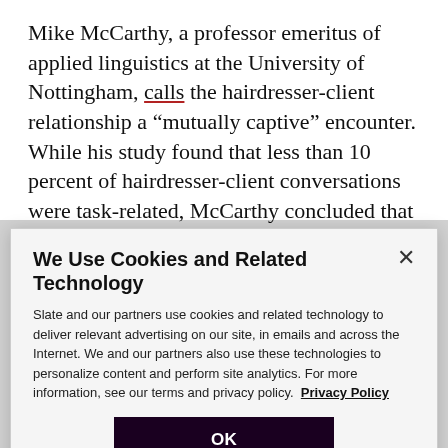Mike McCarthy, a professor emeritus of applied linguistics at the University of Nottingham, calls the hairdresser-client relationship a “mutually captive” encounter. While his study found that less than 10 percent of hairdresser-client conversations were task-related, McCarthy concluded that chitchat was an “indispensable” element of the service experience, because it contributed to “mutual assurance that
We Use Cookies and Related Technology
Slate and our partners use cookies and related technology to deliver relevant advertising on our site, in emails and across the Internet. We and our partners also use these technologies to personalize content and perform site analytics. For more information, see our terms and privacy policy.  Privacy Policy